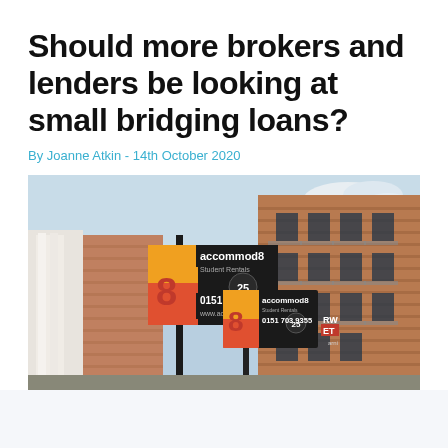Should more brokers and lenders be looking at small bridging loans?
By Joanne Atkin - 14th October 2020
[Figure (photo): Street-level photograph of a row of brick buildings with multiple 'accommod8 Student Rentals' letting signs mounted on poles, showing the phone number 0151 703 9355 and website www.accommod8.biz, with a sky background.]